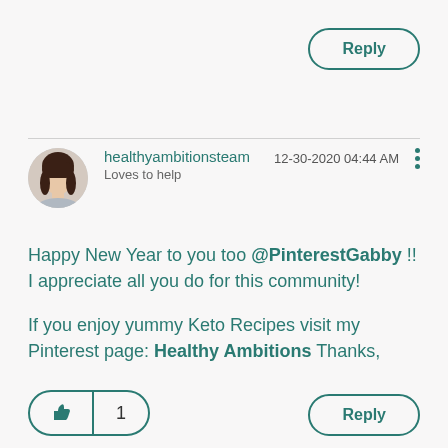Reply
healthyambitionsteam
Loves to help
12-30-2020 04:44 AM
Happy New Year to you too @PinterestGabby !! I appreciate all you do for this community!

If you enjoy yummy Keto Recipes visit my Pinterest page: Healthy Ambitions Thanks,
1
Reply